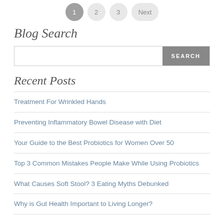1  2  3  Next
Blog Search
Treatment For Wrinkled Hands
Preventing Inflammatory Bowel Disease with Diet
Your Guide to the Best Probiotics for Women Over 50
Top 3 Common Mistakes People Make While Using Probiotics
What Causes Soft Stool? 3 Eating Myths Debunked
Why is Gut Health Important to Living Longer?